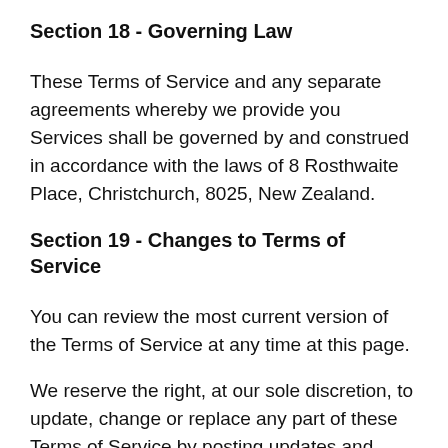Section 18 - Governing Law
These Terms of Service and any separate agreements whereby we provide you Services shall be governed by and construed in accordance with the laws of 8 Rosthwaite Place, Christchurch, 8025, New Zealand.
Section 19 - Changes to Terms of Service
You can review the most current version of the Terms of Service at any time at this page.
We reserve the right, at our sole discretion, to update, change or replace any part of these Terms of Service by posting updates and changes to our website. It is your responsibility to check our website